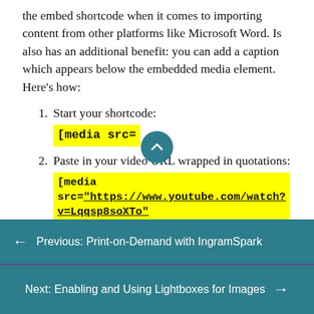the embed shortcode when it comes to importing content from other platforms like Microsoft Word. Is also has an additional benefit: you can add a caption which appears below the embedded media element. Here’s how:
Start your shortcode: [media src=
Paste in your video URL wrapped in quotations: [media src="https://www.youtube.com/watch?v=Lqqsp8soXTo"
← Previous: Print-on-Demand with IngramSpark
Next: Enabling and Using Lightboxes for Images →